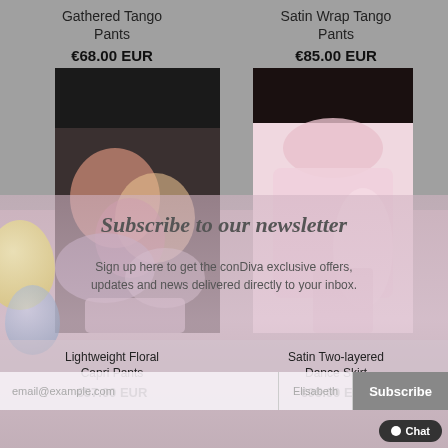Gathered Tango Pants
€68.00 EUR
Satin Wrap Tango Pants
€85.00 EUR
[Figure (photo): Two product images of dance pants/skirts, left showing floral print and right showing pink satin wrap style]
Subscribe to our newsletter
Sign up here to get the conDiva exclusive offers, updates and news delivered directly to your inbox.
Lightweight Floral Capri Pants
€57.00 EUR
Satin Two-layered Dance Skirt
€95.00 EUR
email@example.com
Elisabeth
Subscribe
Chat